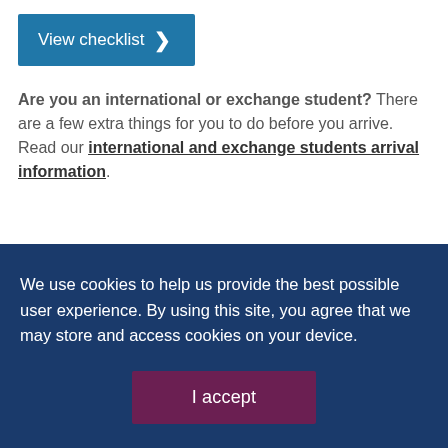[Figure (other): Blue button with text 'View checklist' and a right-arrow chevron]
Are you an international or exchange student? There are a few extra things for you to do before you arrive. Read our international and exchange students arrival information.
We use cookies to help us provide the best possible user experience. By using this site, you agree that we may store and access cookies on your device.
[Figure (other): Dark maroon 'I accept' button]